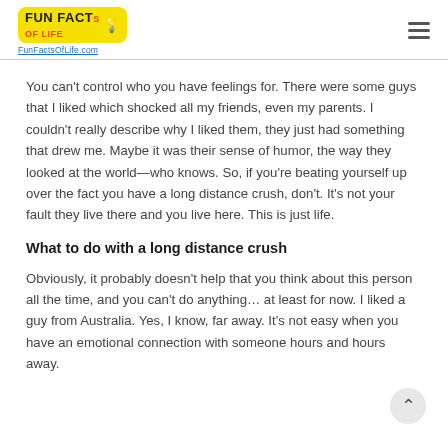FunFacts OF LIFE — FunFactsOfLife.com
You can't control who you have feelings for. There were some guys that I liked which shocked all my friends, even my parents. I couldn't really describe why I liked them, they just had something that drew me. Maybe it was their sense of humor, the way they looked at the world—who knows. So, if you're beating yourself up over the fact you have a long distance crush, don't. It's not your fault they live there and you live here. This is just life.
What to do with a long distance crush
Obviously, it probably doesn't help that you think about this person all the time, and you can't do anything… at least for now. I liked a guy from Australia. Yes, I know, far away. It's not easy when you have an emotional connection with someone hours and hours away.